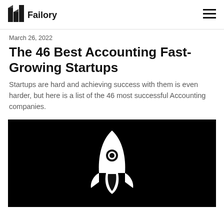Failory
March 26, 2022
The 46 Best Accounting Fast-Growing Startups
Startups are hard and achieving success with them is even harder, but here is a list of the 46 most successful Accounting companies.
[Figure (illustration): Black background hero image with a white rocket ship icon in the center]